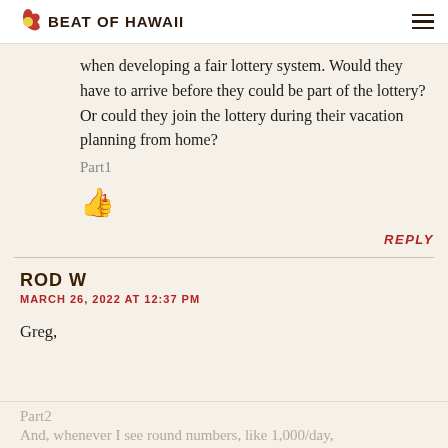BEAT OF HAWAii
when developing a fair lottery system. Would they have to arrive before they could be part of the lottery? Or could they join the lottery during their vacation planning from home?
Part1
[Figure (illustration): Red thumbs-up icon with a small number 1]
REPLY
ROD W
MARCH 26, 2022 AT 12:37 PM
Greg,
Part2
And, whenever I see round numbers, like 1,000/day,